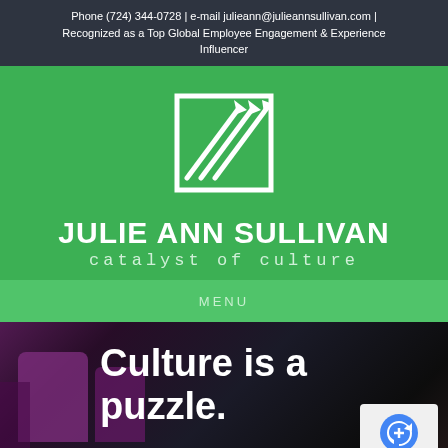Phone (724) 344-0728 | e-mail julieann@julieannsullivan.com | Recognized as a Top Global Employee Engagement & Experience Influencer
[Figure (logo): Julie Ann Sullivan logo: white square frame with two upward-pointing arrows on green background, with name 'JULIE ANN SULLIVAN' and tagline 'catalyst of culture']
MENU
[Figure (photo): Dark background photo of theatre/auditorium seats in purple, with bold white text overlay reading 'Culture is a puzzle.' and a reCAPTCHA badge in bottom right.]
Culture is a puzzle.